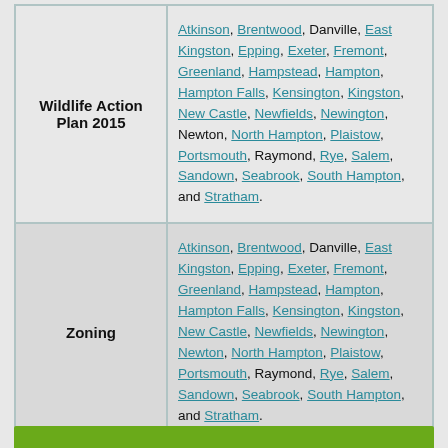| Category | Municipalities |
| --- | --- |
| Wildlife Action Plan 2015 | Atkinson, Brentwood, Danville, East Kingston, Epping, Exeter, Fremont, Greenland, Hampstead, Hampton, Hampton Falls, Kensington, Kingston, New Castle, Newfields, Newington, Newton, North Hampton, Plaistow, Portsmouth, Raymond, Rye, Salem, Sandown, Seabrook, South Hampton, and Stratham. |
| Zoning | Atkinson, Brentwood, Danville, East Kingston, Epping, Exeter, Fremont, Greenland, Hampstead, Hampton, Hampton Falls, Kensington, Kingston, New Castle, Newfields, Newington, Newton, North Hampton, Plaistow, Portsmouth, Raymond, Rye, Salem, Sandown, Seabrook, South Hampton, and Stratham. |